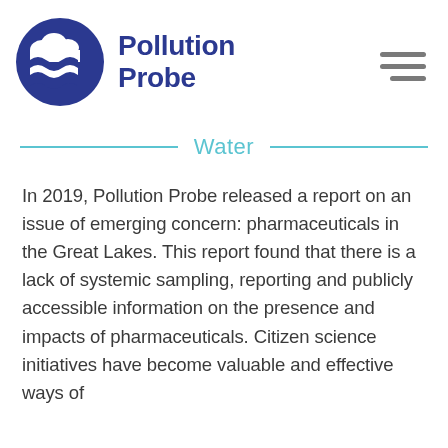[Figure (logo): Pollution Probe logo: dark blue circle with white cloud/wave graphic and bold dark blue text 'Pollution Probe' beside it]
Water
In 2019, Pollution Probe released a report on an issue of emerging concern: pharmaceuticals in the Great Lakes. This report found that there is a lack of systemic sampling, reporting and publicly accessible information on the presence and impacts of pharmaceuticals. Citizen science initiatives have become valuable and effective ways of